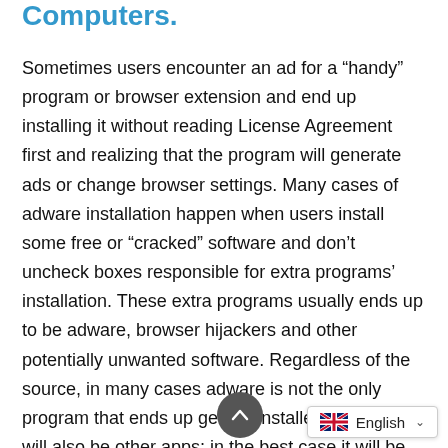Computers.
Sometimes users encounter an ad for a “handy” program or browser extension and end up installing it without reading License Agreement first and realizing that the program will generate ads or change browser settings. Many cases of adware installation happen when users install some free or “cracked” software and don’t uncheck boxes responsible for extra programs’ installation. These extra programs usually ends up to be adware, browser hijackers and other potentially unwanted software. Regardless of the source, in many cases adware is not the only program that ends up getting installed. Often there will also be other apps; in the best case it will be programs causing some annoyance: redirecting the user to unwanted sites, opening pop-ups, changing default search engine, etc. In worse ca…